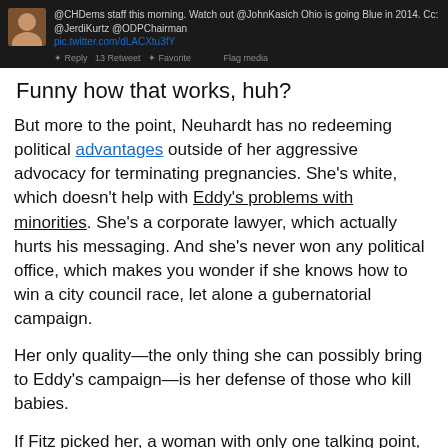[Figure (screenshot): A dark-themed social media (Twitter) post screenshot showing a tweet about @CHDems staff, @JohnKasich, Ohio going Blue in 2014, with @JerdiKurtz @ODPChairman mentioned. Shows Reply, Retweet, Favorite, Flag media actions.]
Funny how that works, huh?
But more to the point, Neuhardt has no redeeming political advantages outside of her aggressive advocacy for terminating pregnancies.  She's white, which doesn't help with Eddy's problems with minorities.  She's a corporate lawyer, which actually hurts his messaging.  And she's never won any political office, which makes you wonder if she knows how to win a city council race, let alone a gubernatorial campaign.
Her only quality—the only thing she can possibly bring to Eddy's campaign—is her defense of those who kill babies.
If Fitz picked her, a woman with only one talking point, then he's officially adopted that as his only talking point.